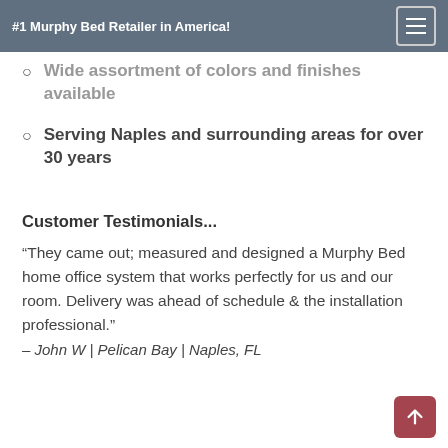#1 Murphy Bed Retailer in America!
Wide assortment of colors and finishes available
Serving Naples and surrounding areas for over 30 years
Customer Testimonials...
“They came out; measured and designed a Murphy Bed home office system that works perfectly for us and our room. Delivery was ahead of schedule & the installation professional.”
– John W | Pelican Bay | Naples, FL